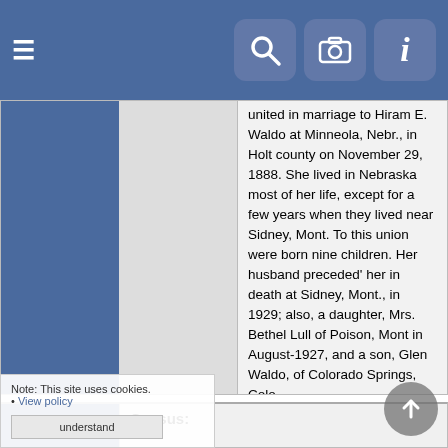Navigation bar with hamburger menu, search, camera, and info icons
united in marriage to Hiram E. Waldo at Minneola, Nebr., in Holt county on November 29, 1888. She lived in Nebraska most of her life, except for a few years when they lived near Sidney, Mont. To this union were born nine children. Her husband preceded her in death at Sidney, Mont., in 1929; also, a daughter, Mrs. Bethel Lull of Poison, Mont in August-1927, and a son, Glen Waldo, of Colorado Springs, Colo.

https://atkinsonne.advantage-preservation.com/viewer/?k=bishop%20ella&i=f&by=1942&bdd=19
Notes
Census:
Notes from Census event:
Hiram E. Waldo, head, white, male, Nov 1865, 34, married, 11 years, birthplace - Michigan, father's birthplace - Ohio, mother's birthplace - New York. Farmer, month not employed -0, reads, writes and speaks English, rents, farm, # on farm schedule - 5, line 17...